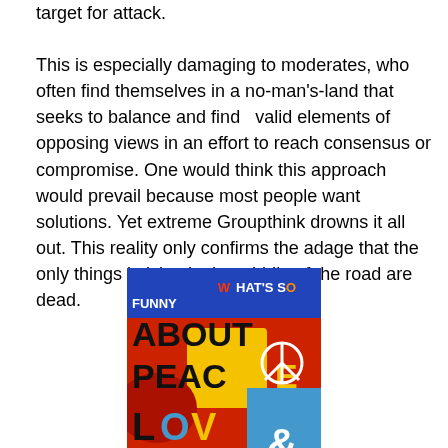target for attack.

This is especially damaging to moderates, who often find themselves in a no-man's-land that seeks to balance and find   valid elements of opposing views in an effort to reach consensus or compromise. One would think this approach would prevail because most people want solutions. Yet extreme Groupthink drowns it all out. This reality only confirms the adage that the only things in lying in the middle of the road are dead.
[Figure (illustration): Book cover reading 'WHAT'S SO FUNNY ABOUT PEACE LOVE &' with colorful graphic design in red, blue, yellow, and black]